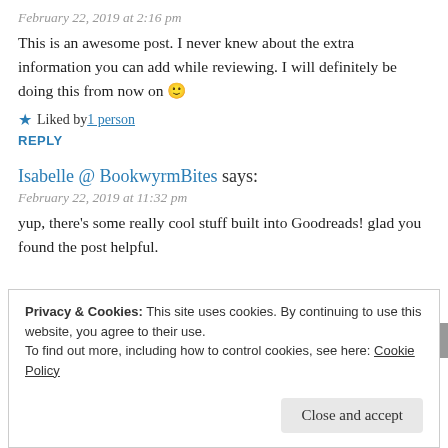February 22, 2019 at 2:16 pm
This is an awesome post. I never knew about the extra information you can add while reviewing. I will definitely be doing this from now on 🙂
★ Liked by 1 person
REPLY
Isabelle @ BookwyrmBites says:
February 22, 2019 at 11:32 pm
yup, there's some really cool stuff built into Goodreads! glad you found the post helpful.
Privacy & Cookies: This site uses cookies. By continuing to use this website, you agree to their use.
To find out more, including how to control cookies, see here: Cookie Policy
Close and accept